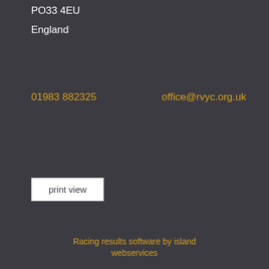PO33 4EU
England
01983 882325
office@rvyc.org.uk
print view
Racing results software by island webservices